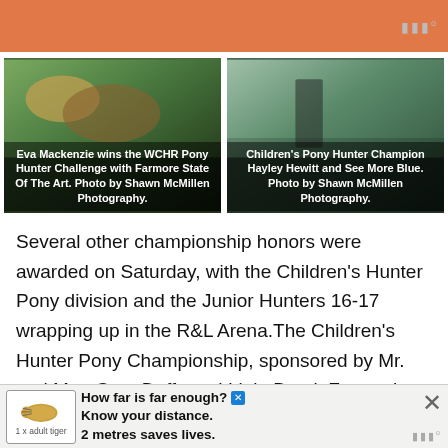[Figure (photo): Orange advertisement banner at top with watermark dots]
[Figure (photo): Photo of Eva Mackenzie winning the WCHR Pony Hunter Challenge with Farmore State Of The Art. Photo by Shawn McMillen Photography.]
[Figure (photo): Photo of Children's Pony Hunter Champion Hayley Hewitt and See More Blue. Photo by Shawn McMillen Photography.]
Several other championship honors were awarded on Saturday, with the Children's Hunter Pony division and the Junior Hunters 16-17 wrapping up in the R&L Arena.The Children's Hunter Pony Championship, sponsored by Mr. and Mrs. Gary Duffy and Little Brook Farms, Inc., went to Hayley Hewitt of New Canaan, CT, and Basset Equine LLC's See More Blue,
[Figure (infographic): Bottom advertisement banner: tiger icon with '1 x adult tiger' label, text 'How far is far enough? Know your distance. 2 metres saves lives.' with close buttons and watermark]